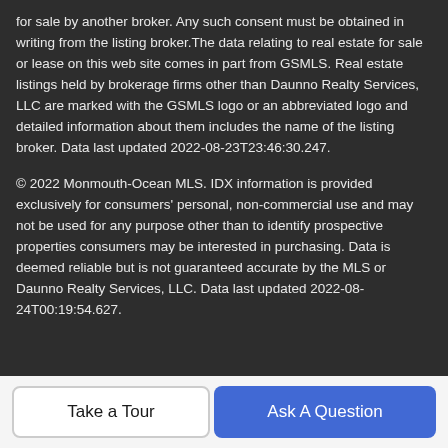for sale by another broker. Any such consent must be obtained in writing from the listing broker.The data relating to real estate for sale or lease on this web site comes in part from GSMLS. Real estate listings held by brokerage firms other than Daunno Realty Services, LLC are marked with the GSMLS logo or an abbreviated logo and detailed information about them includes the name of the listing broker. Data last updated 2022-08-23T23:46:30.247.
© 2022 Monmouth-Ocean MLS. IDX information is provided exclusively for consumers' personal, non-commercial use and may not be used for any purpose other than to identify prospective properties consumers may be interested in purchasing. Data is deemed reliable but is not guaranteed accurate by the MLS or Daunno Realty Services, LLC. Data last updated 2022-08-24T00:19:54.627.
[Figure (logo): GSMLS logo with orange house icon and text GSMLS]
The data relating to real estate for sale on this web-site comes in part from the Internet Listing
Take a Tour
Ask A Question